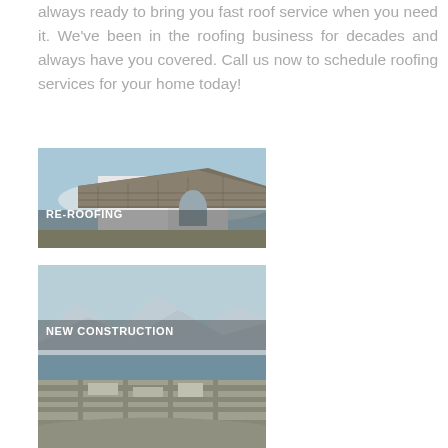always ready to bring you fast roof service when you need it. We've been in the roofing business for decades and always have you covered. Call us now to schedule roofing services for your home today!
[Figure (photo): Photo of a house with a tiled roof and white walls, labeled RE-ROOFING]
[Figure (photo): Aerial photo of a construction site with mountains in background, labeled NEW CONSTRUCTION]